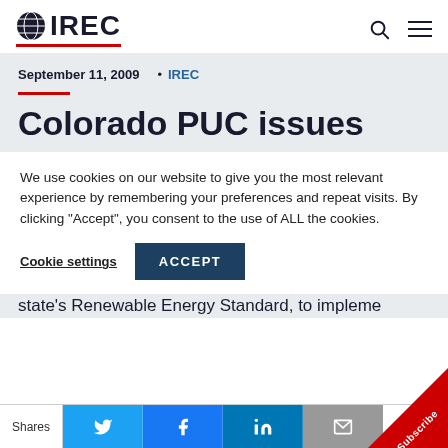IREC
September 11, 2009 • IREC
Colorado PUC issues
We use cookies on our website to give you the most relevant experience by remembering your preferences and repeat visits. By clicking "Accept", you consent to the use of ALL the cookies.
Cookie settings  ACCEPT
state's Renewable Energy Standard, to impleme
Shares  [Twitter] [Facebook] [LinkedIn] [Email]  Subscribe